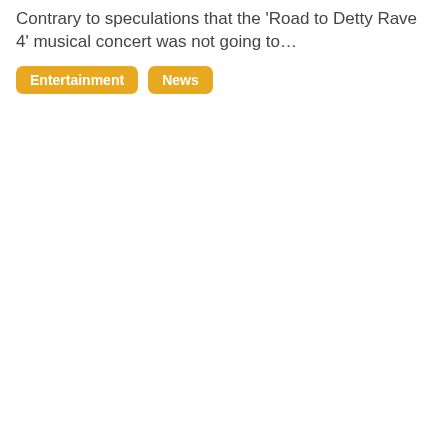Contrary to speculations that the 'Road to Detty Rave 4' musical concert was not going to…
Entertainment
News